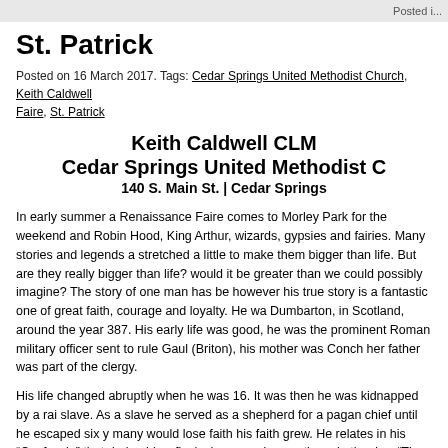Posted i...
St. Patrick
Posted on 16 March 2017. Tags: Cedar Springs United Methodist Church, Keith Caldwell CLM Faire, St. Patrick
Keith Caldwell CLM Cedar Springs United Methodist C 140 S. Main St. | Cedar Springs
In early summer a Renaissance Faire comes to Morley Park for the weekend and Robin Hood, King Arthur, wizards, gypsies and fairies. Many stories and legends a stretched a little to make them bigger than life. But are they really bigger than life? would it be greater than we could possibly imagine? The story of one man has be however his true story is a fantastic one of great faith, courage and loyalty. He wa Dumbarton, in Scotland, around the year 387. His early life was good, he was the prominent Roman military officer sent to rule Gaul (Briton), his mother was Conch her father was part of the clergy.
His life changed abruptly when he was 16. It was then he was kidnapped by a rai slave. As a slave he served as a shepherd for a pagan chief until he escaped six y many would lose faith his faith grew. He relates in his “Confessio” that during his c flocks he prayed many times in the day. “The love of God and His fear increased i